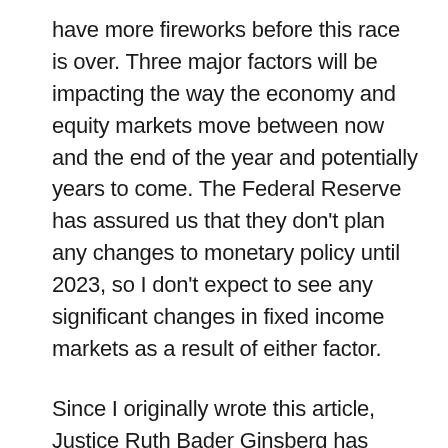have more fireworks before this race is over. Three major factors will be impacting the way the economy and equity markets move between now and the end of the year and potentially years to come. The Federal Reserve has assured us that they don't plan any changes to monetary policy until 2023, so I don't expect to see any significant changes in fixed income markets as a result of either factor.
Since I originally wrote this article, Justice Ruth Bader Ginsberg has passed away. While she will be remembered as one of the most significant Supreme Court Justices of our time, unfortunately her passing has ignited a new, powerful political fire